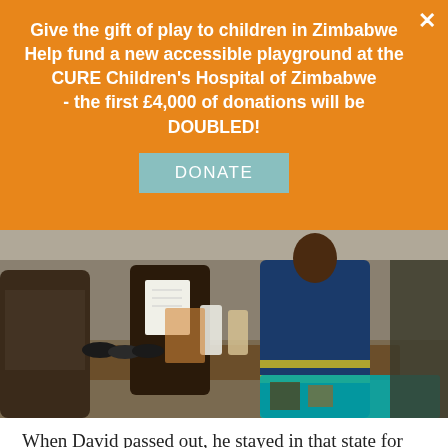Give the gift of play to children in Zimbabwe Help fund a new accessible playground at the CURE Children's Hospital of Zimbabwe - the first £4,000 of donations will be DOUBLED!
[Figure (photo): Outdoor market scene showing people at a stall with shoes and containers; a person in a blue high-visibility work uniform is visible, along with others examining goods.]
When David passed out, he stayed in that state for some time. Tests were run and it was discovered that his legs were gangrenous. The